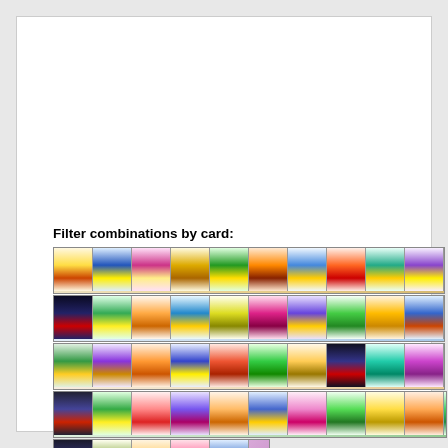Filter combinations by card:
[Figure (illustration): A grid of tarot card images arranged in 5 rows, showing all 78 tarot cards as small thumbnails. Each card shows colorful illustrated tarot imagery. The grid has approximately 19 cards per row in the first 4 rows, with 5 cards in the last row.]